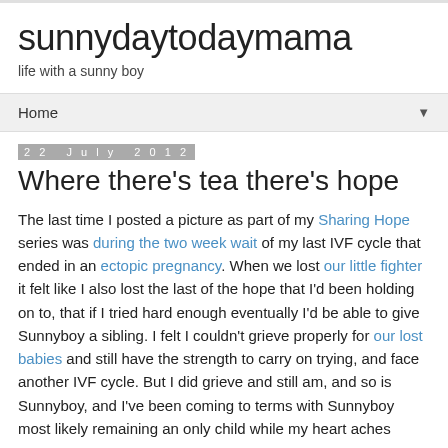sunnydaytodaymama
life with a sunny boy
Home ▼
22 July 2012
Where there's tea there's hope
The last time I posted a picture as part of my Sharing Hope series was during the two week wait of my last IVF cycle that ended in an ectopic pregnancy. When we lost our little fighter it felt like I also lost the last of the hope that I'd been holding on to, that if I tried hard enough eventually I'd be able to give Sunnyboy a sibling. I felt I couldn't grieve properly for our lost babies and still have the strength to carry on trying, and face another IVF cycle. But I did grieve and still am, and so is Sunnyboy, and I've been coming to terms with Sunnyboy most likely remaining an only child while my heart aches